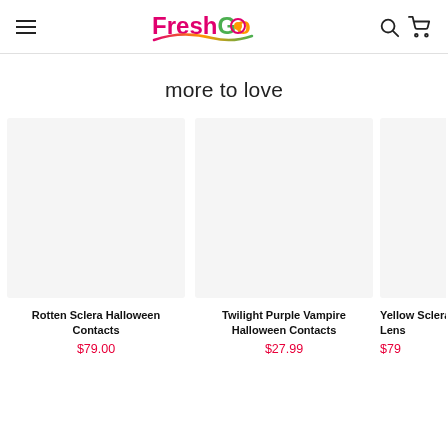FreshGo — navigation header with hamburger menu, logo, search and cart icons
more to love
[Figure (photo): Rotten Sclera Halloween Contacts product image placeholder]
Rotten Sclera Halloween Contacts
$79.00
[Figure (photo): Twilight Purple Vampire Halloween Contacts product image placeholder]
Twilight Purple Vampire Halloween Contacts
$27.99
[Figure (photo): Yellow Sclera Lens product image placeholder (partially visible)]
Yellow Sclera Lens
$79